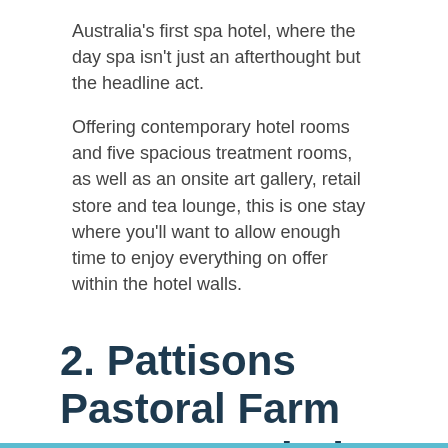Australia's first spa hotel, where the day spa isn't just an afterthought but the headline act.
Offering contemporary hotel rooms and five spacious treatment rooms, as well as an onsite art gallery, retail store and tea lounge, this is one stay where you'll want to allow enough time to enjoy everything on offer within the hotel walls.
2. Pattisons Pastoral Farm Stay, Burraboi (NSW)